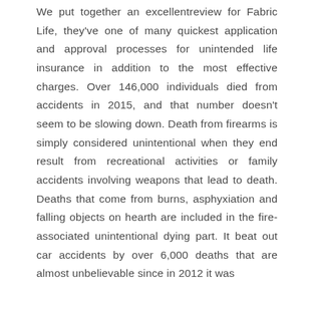We put together an excellentreview for Fabric Life, they've one of many quickest application and approval processes for unintended life insurance in addition to the most effective charges. Over 146,000 individuals died from accidents in 2015, and that number doesn't seem to be slowing down. Death from firearms is simply considered unintentional when they end result from recreational activities or family accidents involving weapons that lead to death. Deaths that come from burns, asphyxiation and falling objects on hearth are included in the fire-associated unintentional dying part. It beat out car accidents by over 6,000 deaths that are almost unbelievable since in 2012 it was